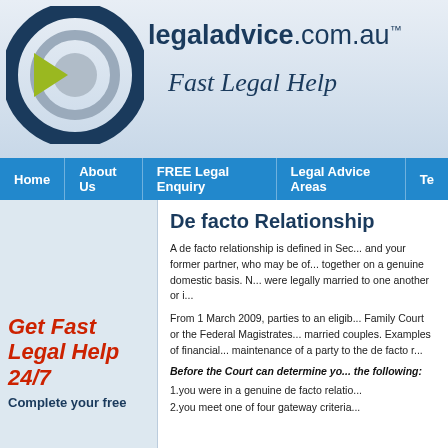[Figure (logo): legaladvice.com.au logo with circular target icon in navy and lime green, bold site name, and italic tagline 'Fast Legal Help']
Home | About Us | FREE Legal Enquiry | Legal Advice Areas | Te...
De facto Relationship
A de facto relationship is defined in Sec... and your former partner, who may be of... together on a genuine domestic basis. N... were legally married to one another or i...
From 1 March 2009, parties to an eligib... Family Court or the Federal Magistrates... married couples. Examples of financial... maintenance of a party to the de facto r...
Before the Court can determine yo... the following:
1.you were in a genuine de facto relatio...
2.you meet one of four gateway criteria...
Get Fast Legal Help 24/7
Complete your free